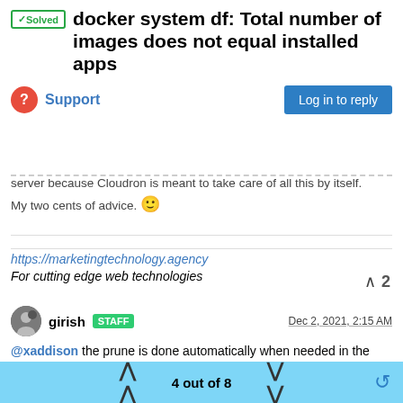✓ Solved  docker system df: Total number of images does not equal installed apps
Support
server because Cloudron is meant to take care of all this by itself. My two cents of advice. 🙂
https://marketingtechnology.agency
For cutting edge web technologies
girish STAFF  Dec 2, 2021, 2:15 AM
@xaddison the prune is done automatically when needed in the code. Most likely the containers that got removed are the ones that were "stopped". Cloudron runs cron jobs of apps in containers, for
4 out of 8